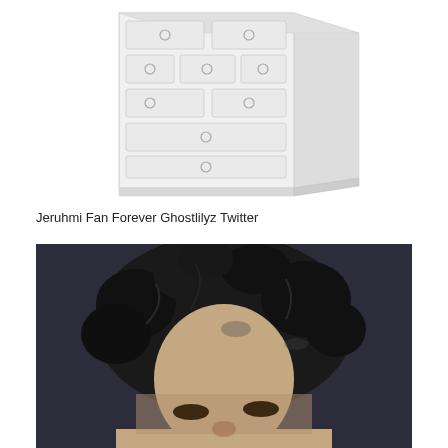[Figure (illustration): A white dresser/chest of drawers with multiple drawers and round knobs, shown at a slight angle against a white background. The dresser has several rows of drawers of varying sizes.]
Jeruhmi Fan Forever Ghostlilyz Twitter
[Figure (photo): A photo of a person with long curly dark hair, looking slightly upward, against a dark background. Only the top half of the face and hair are visible in the crop.]